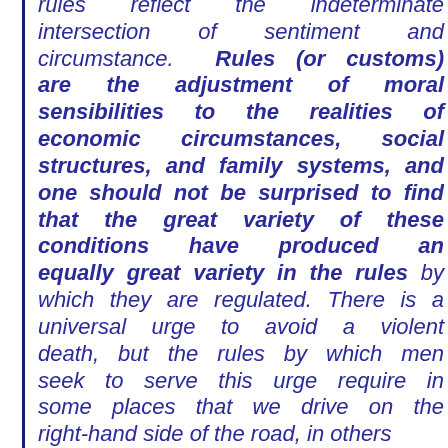rules reflect the indeterminate intersection of sentiment and circumstance. Rules (or customs) are the adjustment of moral sensibilities to the realities of economic circumstances, social structures, and family systems, and one should not be surprised to find that the great variety of these conditions have produced an equally great variety in the rules by which they are regulated. There is a universal urge to avoid a violent death, but the rules by which men seek to serve this urge require in some places that we drive on the right-hand side of the road, in others